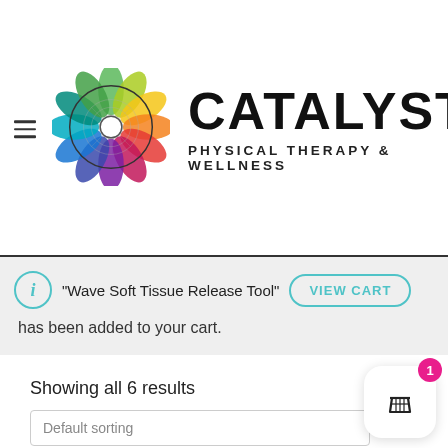[Figure (logo): Catalyst Physical Therapy and Wellness logo: colorful mandala/flower pattern with rainbow petals and a white circle center, next to bold text 'CATALYST' and 'PHYSICAL THERAPY & WELLNESS']
"Wave Soft Tissue Release Tool" has been added to your cart.
Showing all 6 results
Default sorting